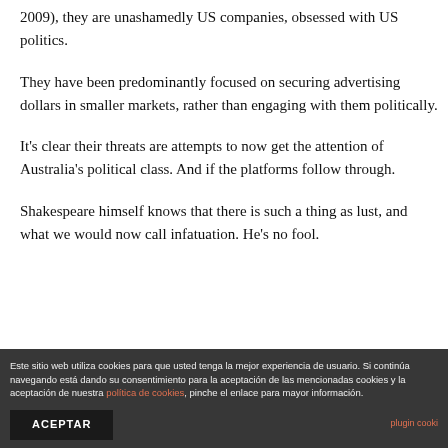2009), they are unashamedly US companies, obsessed with US politics.
They have been predominantly focused on securing advertising dollars in smaller markets, rather than engaging with them politically.
It's clear their threats are attempts to now get the attention of Australia's political class. And if the platforms follow through.
Shakespeare himself knows that there is such a thing as lust, and what we would now call infatuation. He's no fool.
Este sitio web utiliza cookies para que usted tenga la mejor experiencia de usuario. Si continúa navegando está dando su consentimiento para la aceptación de las mencionadas cookies y la aceptación de nuestra política de cookies, pinche el enlace para mayor información.
ACEPTAR
plugin cooki